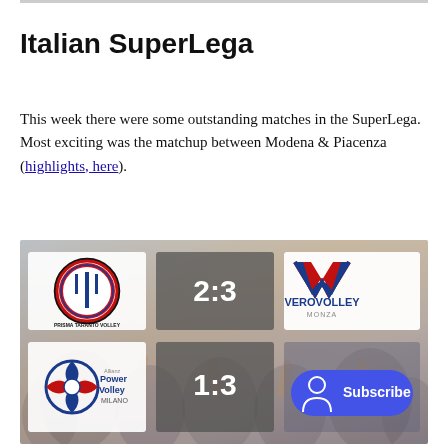Italian SuperLega
This week there were some outstanding matches in the SuperLega. Most exciting was the matchup between Modena & Piacenza (highlights, here).
[Figure (photo): A composite image showing match results from the Italian SuperLega volleyball league. Top row: Prisma Taranto Volley logo vs VeroVolley with score 2:3. Bottom row: Allianz Power Volley Milano logo with score 1:3, and a Subscribe button overlay. Background shows volleyball fans/crowd.]